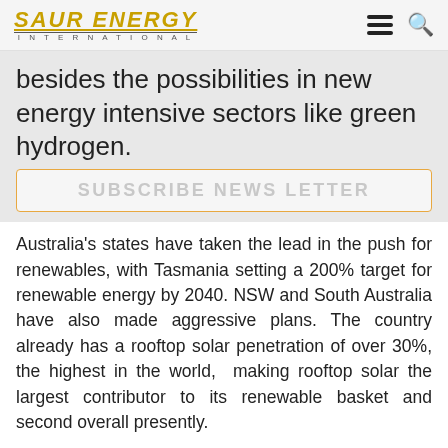SAUR ENERGY INTERNATIONAL
besides the possibilities in new energy intensive sectors like green hydrogen.
SUBSCRIBE NEWS LETTER
Australia's states have taken the lead in the push for renewables, with Tasmania setting a 200% target for renewable energy by 2040. NSW and South Australia have also made aggressive plans. The country already has a rooftop solar penetration of over 30%, the highest in the world, making rooftop solar the largest contributor to its renewable basket and second overall presently.